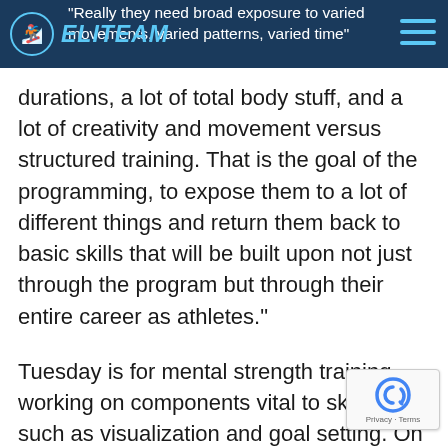ELITEAM
“Really they need broad exposure to varied movements, varied patterns, varied time” durations, a lot of total body stuff, and a lot of creativity and movement versus structured training. That is the goal of the programming, to expose them to a lot of different things and return them back to basic skills that will be built upon not just through the program but through their entire career as athletes.”
Tuesday is for mental strength training, working on components vital to ski racing, such as visualization and goal setting. On Thursdays, the focus falls on nutrition, with special recipes developed alongside the sports elite-level sports dietician Megan